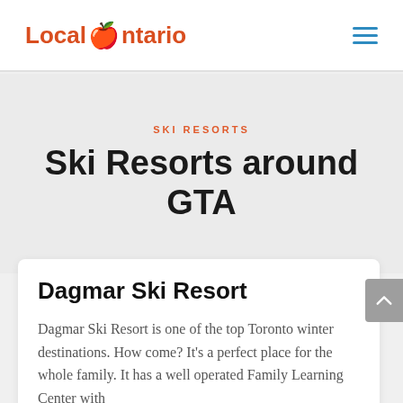Local Ontario
SKI RESORTS
Ski Resorts around GTA
Dagmar Ski Resort
Dagmar Ski Resort is one of the top Toronto winter destinations. How come? It's a perfect place for the whole family. It has a well operated Family Learning Center with